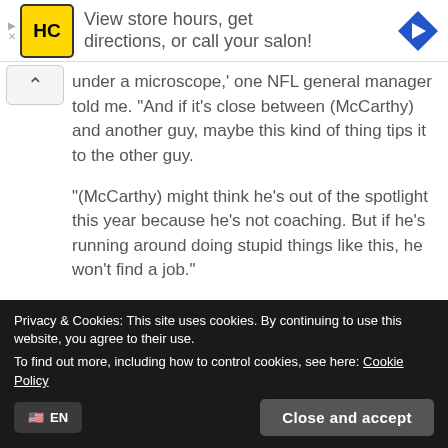[Figure (other): Advertisement banner with HC logo (yellow square with black HC letters) and text 'View store hours, get directions, or call your salon!' with a blue navigation arrow icon on the right]
under a microscope,' one NFL general manager told me. “And if it’s close between (McCarthy) and another guy, maybe this kind of thing tips it to the other guy.
“(McCarthy) might think he’s out of the spotlight this year because he’s not coaching. But if he’s running around doing stupid things like this, he won’t find a job.”
https://www.forbes.com/sites/robreischel/2019/11/01/greenbay-packers-fast-start-could-hurt-mike-mccarthys-job...
Privacy & Cookies: This site uses cookies. By continuing to use this website, you agree to their use.
To find out more, including how to control cookies, see here: Cookie Policy